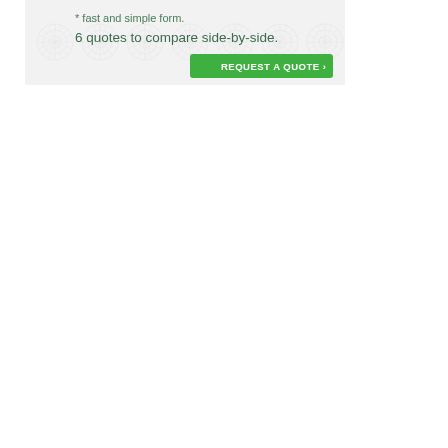[Figure (infographic): Insurance quote banner with decorative sunburst/rosette pattern background in light grey, showing text '* fast and simple form.' and '6 quotes to compare side-by-side.' with a green 'REQUEST A QUOTE >' button in the bottom right corner.]